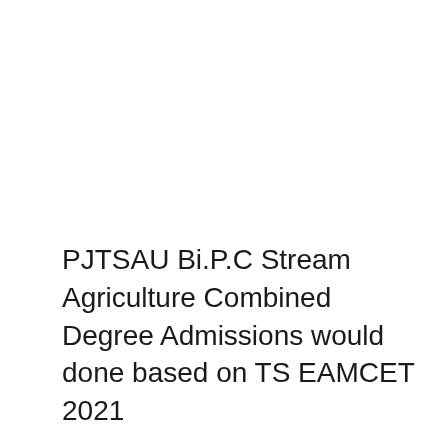PJTSAU Bi.P.C Stream Agriculture Combined Degree Admissions would done based on TS EAMCET 2021